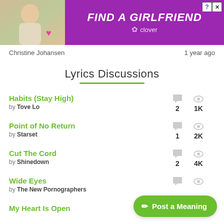[Figure (infographic): Purple advertisement banner with photo of a woman, text FIND A GIRLFRIEND, Clover app logo, close button]
Christine Johansen    1 year ago
Lyrics Discussions
Habits (Stay High) by Tove Lo — 2 comments, 1K views
Point of No Return by Starset — 1 comment, 2K views
Cut The Cord by Shinedown — 2 comments, 4K views
Wide Eyes by The New Pornographers
My Heart Is Open